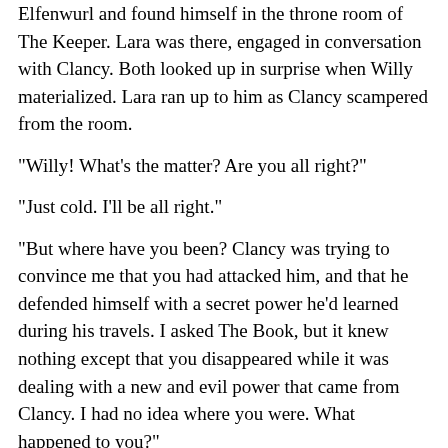Elfenwurl and found himself in the throne room of The Keeper. Lara was there, engaged in conversation with Clancy. Both looked up in surprise when Willy materialized. Lara ran up to him as Clancy scampered from the room.
"Willy! What’s the matter? Are you all right?"
"Just cold. I’ll be all right."
"But where have you been? Clancy was trying to convince me that you had attacked him, and that he defended himself with a secret power he’d learned during his travels. I asked The Book, but it knew nothing except that you disappeared while it was dealing with a new and evil power that came from Clancy. I had no idea where you were. What happened to you?"
Willy explained to her all that had happened.
"How will you punish him?" she asked.
"The harshest punishment The Book will allow," he said.